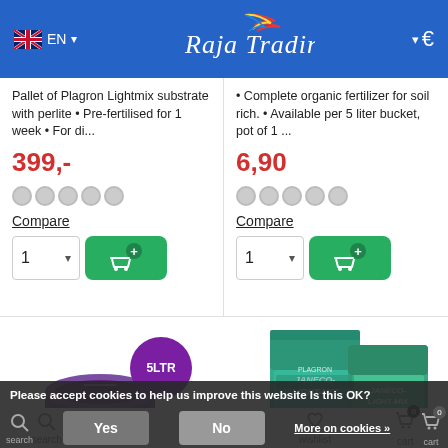Raja Trading — EN / €
Pallet of Plagron Lightmix substrate with perlite • Pre-fertilised for 1 week • For di...
399,-
Compare
• Complete organic fertilizer for soil rich. • Available per 5 liter bucket, pot of 1 ...
6,90
Compare
[Figure (photo): Purple container product with 5LTR badge]
[Figure (photo): Janeco Light Mix soil bags in teal/green packaging]
Please accept cookies to help us improve this website Is this OK?
Yes
No
More on cookies »
search   login   menu   wishlist   cart 0